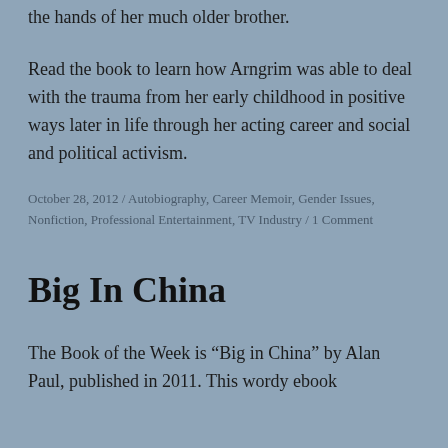the hands of her much older brother.
Read the book to learn how Arngrim was able to deal with the trauma from her early childhood in positive ways later in life through her acting career and social and political activism.
October 28, 2012 / Autobiography, Career Memoir, Gender Issues, Nonfiction, Professional Entertainment, TV Industry / 1 Comment
Big In China
The Book of the Week is “Big in China” by Alan Paul, published in 2011. This wordy ebook